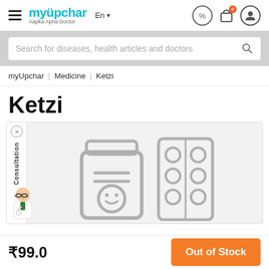myUpchar — Aapka Apna Doctor | En | Icons: discount, cart (0), profile
Search for diseases, health articles and doctors
myUpchar | Medicine | Ketzi
Ketzi
[Figure (illustration): Consultation tab with close button and doctor avatar on left; medicine bottle and blister pack illustration in grey on white/light grey background]
₹99.0
Out of Stock